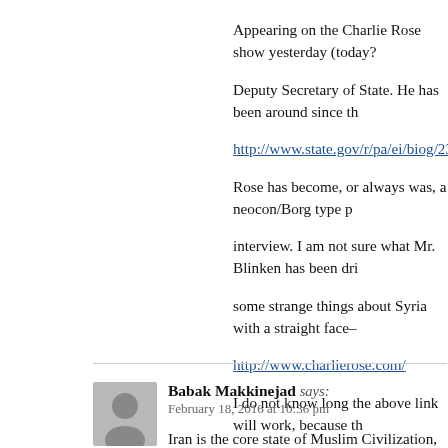Appearing on the Charlie Rose show yesterday (today? Deputy Secretary of State. He has been around since th http://www.state.gov/r/pa/ei/biog/236057.htm Rose has become, or always was, a neocon/Borg type p interview. I am not sure what Mr. Blinken has been dri some strange things about Syria with a straight face– http://www.charlierose.com/ I do not know long the above link will work, because th on the homepage. It may move to another place in Mr. excerpts– https://www.youtube.com/watch?v=Ow45-WZVTe4 https://www.youtube.com/watch?v=xzPViWW_fh0 https://www.youtube.com/watch?v=SO2mp-ZlQ1E
Babak Makkinejad says: February 18, 2016 at 10:36 pm
Iran is the core state of Muslim Civilization,